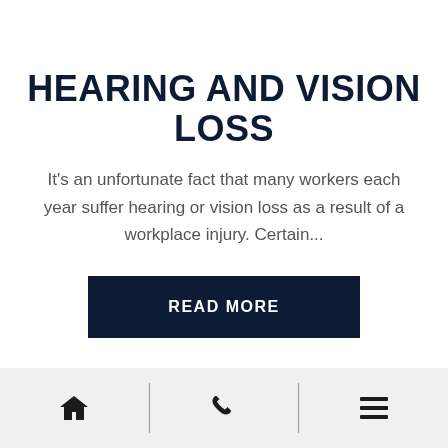HEARING AND VISION LOSS
It's an unfortunate fact that many workers each year suffer hearing or vision loss as a result of a workplace injury. Certain...
READ MORE
Home | Phone | Menu